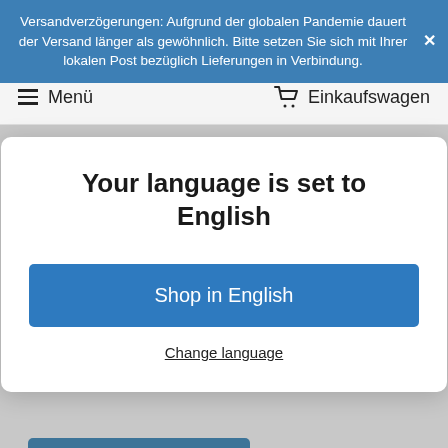Versandverzögerungen: Aufgrund der globalen Pandemie dauert der Versand länger als gewöhnlich. Bitte setzen Sie sich mit Ihrer lokalen Post bezüglich Lieferungen in Verbindung.
Menü  Einkaufswagen
Your language is set to English
Shop in English
Change language
ADD TO CART